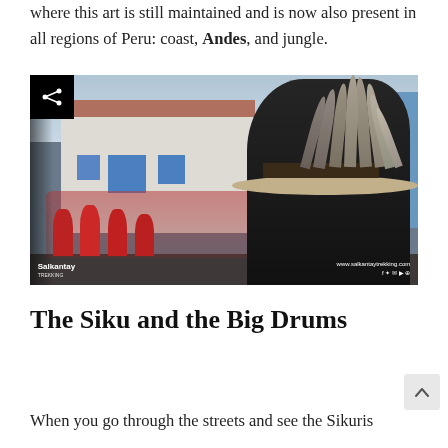where this art is still maintained and is now also present in all regions of Peru: coast, Andes, and jungle.
[Figure (photo): A person wearing a traditional feathered hat and decorated headband at a Peruvian festival, with a crowd of people in red costumes and white colonial buildings in the background. Watermark: Salkantay Trekking, www.salkantaytrekking.com]
The Siku and the Big Drums
When you go through the streets and see the Sikuris